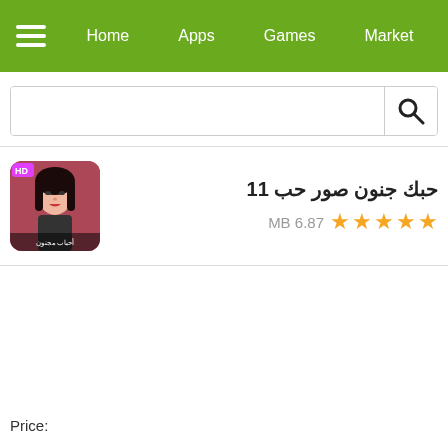Home  Apps  Games  Market
[Figure (screenshot): Search bar with magnifying glass icon]
حبك جنون صور حب 11
★★★★★  6.87 MB
Price: